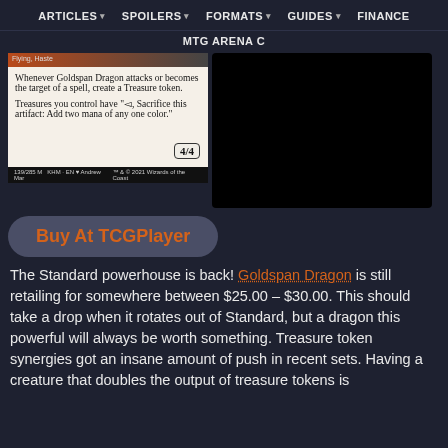ARTICLES ▾   SPOILERS ▾   FORMATS ▾   GUIDES ▾   FINANCE
MTG ARENA C
[Figure (photo): Goldspan Dragon MTG card showing text: 'Whenever Goldspan Dragon attacks or becomes the target of a spell, create a Treasure token. Treasures you control have {T}, Sacrifice this artifact: Add two mana of any one color.' Stats: 4/4. Card number 139/285 M, KHM, illustrated by Andrew Mar.]
[Figure (photo): Black rectangle covering part of the page (advertisement or image placeholder).]
Buy At TCGPlayer
The Standard powerhouse is back! Goldspan Dragon is still retailing for somewhere between $25.00 – $30.00. This should take a drop when it rotates out of Standard, but a dragon this powerful will always be worth something. Treasure token synergies got an insane amount of push in recent sets. Having a creature that doubles the output of treasure tokens is